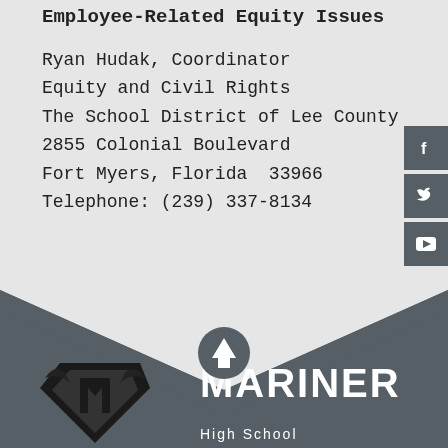Employee-Related Equity Issues
Ryan Hudak, Coordinator
Equity and Civil Rights
The School District of Lee County
2855 Colonial Boulevard
Fort Myers, Florida  33966
Telephone: (239) 337-8134
[Figure (infographic): Social media sidebar buttons: Facebook, Twitter, YouTube icons on dark grey background]
[Figure (illustration): Chevron/arrow shape dividing the light grey top section from the dark grey bottom footer section, with an upward-pointing arrow circle in the center]
[Figure (logo): Mariner High School logo: black mascot/shield graphic on lower left]
MARINER
High School